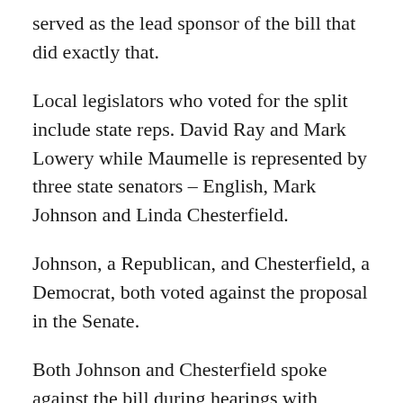served as the lead sponsor of the bill that did exactly that.
Local legislators who voted for the split include state reps. David Ray and Mark Lowery while Maumelle is represented by three state senators – English, Mark Johnson and Linda Chesterfield.
Johnson, a Republican, and Chesterfield, a Democrat, both voted against the proposal in the Senate.
Both Johnson and Chesterfield spoke against the bill during hearings with Johnson saying, “counties matter” and that they need to be kept together while Chesterfield called splitting Pulaski County, “hyperpartisan and petty.”
The final vote totals were 22-10 in the Senate, while it was 59-39 in the House.